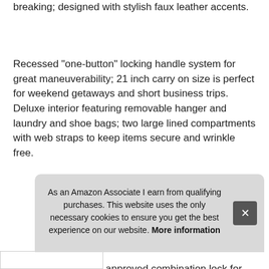breaking; designed with stylish faux leather accents.
Recessed "one-button" locking handle system for great maneuverability; 21 inch carry on size is perfect for weekend getaways and short business trips. Deluxe interior featuring removable hanger and laundry and shoe bags; two large lined compartments with web straps to keep items secure and wrinkle free.
More information #ad
Recessed 3-dial tsa approved combination lock for security; unique brake system locks two front wheels to prevent bag from rolling; spinner wheels for 360 degrees of rotation with... easy...
As an Amazon Associate I earn from qualifying purchases. This website uses the only necessary cookies to ensure you get the best experience on our website. More information